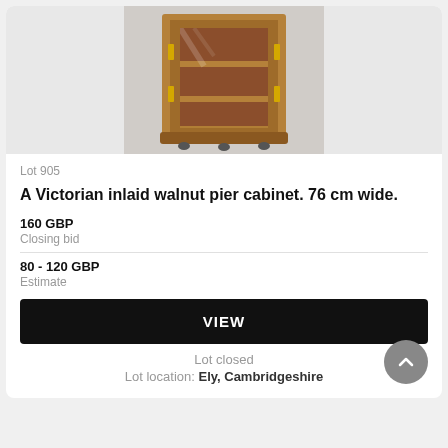[Figure (photo): A Victorian inlaid walnut pier cabinet with glass door and shelving inside, on small casters, shown from above against a grey background]
Lot 905
A Victorian inlaid walnut pier cabinet. 76 cm wide.
160 GBP
Closing bid
80 - 120 GBP
Estimate
VIEW
Lot closed
Lot location: Ely, Cambridgeshire